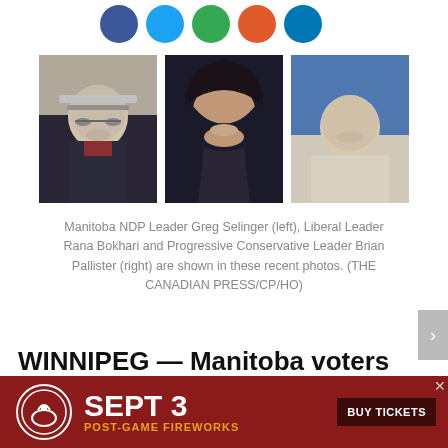[Figure (other): Row of five social media icon circles: Facebook (blue), Twitter (light blue), Google+ (green), Email/share (orange), LinkedIn (blue)]
[Figure (photo): Three portrait photos side by side: Manitoba NDP Leader Greg Selinger (left, older white-haired man with glasses), Liberal Leader Rana Bokhari (centre, woman with dark hair smiling), Progressive Conservative Leader Brian Pallister (right, middle-aged man in casual shirt)]
Manitoba NDP Leader Greg Selinger (left), Liberal Leader Rana Bokhari and Progressive Conservative Leader Brian Pallister (right) are shown in these recent photos. (THE CANADIAN PRESS/CP/HO)
WINNIPEG — Manitoba voters head to the polls today to elect a new government to lead the provi
[Figure (other): Red advertisement banner: SEPT 3 POST-GAME FIREWORKS with BUY TICKETS button and a circular logo on the left]